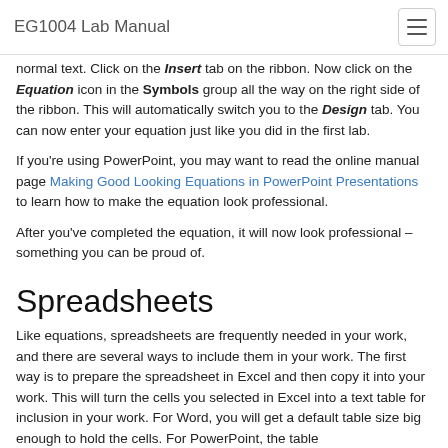EG1004 Lab Manual
normal text. Click on the Insert tab on the ribbon. Now click on the Equation icon in the Symbols group all the way on the right side of the ribbon. This will automatically switch you to the Design tab. You can now enter your equation just like you did in the first lab.
If you're using PowerPoint, you may want to read the online manual page Making Good Looking Equations in PowerPoint Presentations to learn how to make the equation look professional.
After you've completed the equation, it will now look professional – something you can be proud of.
Spreadsheets
Like equations, spreadsheets are frequently needed in your work, and there are several ways to include them in your work. The first way is to prepare the spreadsheet in Excel and then copy it into your work. This will turn the cells you selected in Excel into a text table for inclusion in your work. For Word, you will get a default table size big enough to hold the cells. For PowerPoint, the table